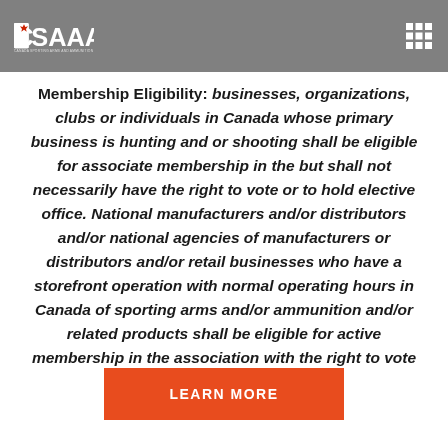CSAAA
Membership Eligibility: businesses, organizations, clubs or individuals in Canada whose primary business is hunting and or shooting shall be eligible for associate membership in the but shall not necessarily have the right to vote or to hold elective office. National manufacturers and/or distributors and/or national agencies of manufacturers or distributors and/or retail businesses who have a storefront operation with normal operating hours in Canada of sporting arms and/or ammunition and/or related products shall be eligible for active membership in the association with the right to vote and to hold elective office.
LEARN MORE